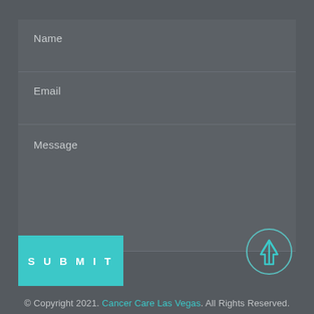Name
Email
Message
SUBMIT
[Figure (illustration): Circular scroll-to-top button with teal upward arrow on dark background]
© Copyright 2021. Cancer Care Las Vegas. All Rights Reserved.